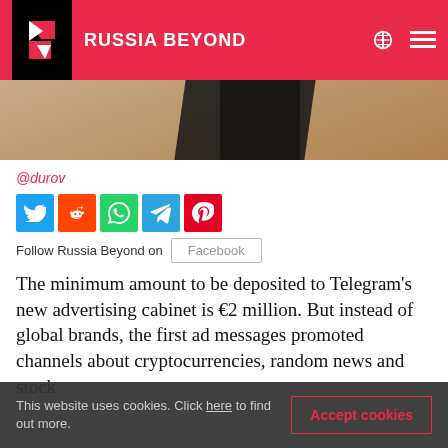RUSSIA BEYOND
[Figure (photo): Hero image strip showing a person in dark clothing against a tan/wood background]
@durov
[Figure (infographic): Social media share buttons: Twitter, Reddit, WhatsApp, Telegram, Pinterest]
Follow Russia Beyond on  Facebook
The minimum amount to be deposited to Telegram's new advertising cabinet is €2 million. But instead of global brands, the first ad messages promoted channels about cryptocurrencies, random news and stock